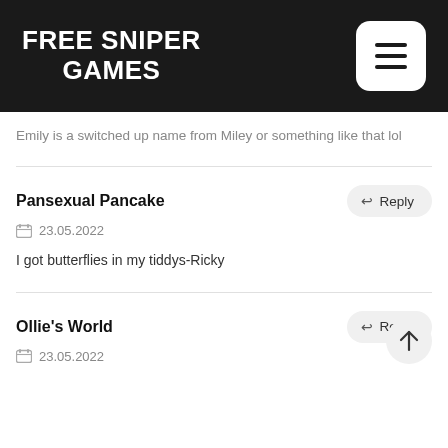FREE SNIPER GAMES
Emily is a switched up name from Miley or something like that lol
Pansexual Pancake
23.05.2022
I got butterflies in my tiddys-Ricky
Ollie's World
23.05.2022